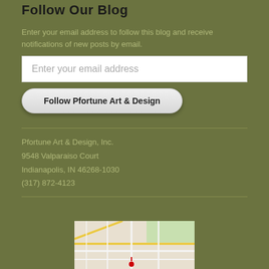Follow Our Blog
Enter your email address to follow this blog and receive notifications of new posts by email.
[Figure (screenshot): Email input field with placeholder text 'Enter your email address']
[Figure (screenshot): Button labeled 'Follow Pfortune Art & Design' with rounded corners]
Pfortune Art & Design, Inc.
9548 Valparaiso Court
Indianapolis, IN 46268-1030
(317) 872-4123
[Figure (map): Street map showing location of Pfortune Art & Design in Indianapolis, IN]